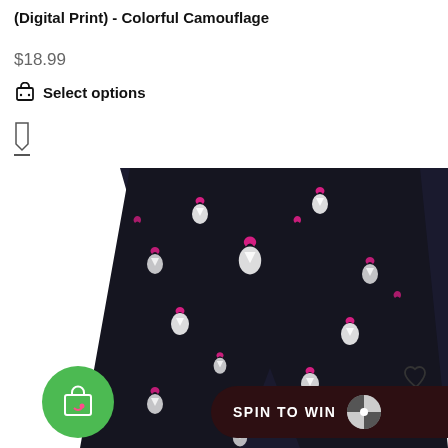(Digital Print) - Colorful Camouflage
$18.99
Select options
[Figure (photo): Black leggings with Korean finger heart emoji print pattern repeated across the fabric, shown from the waist down. Green shopping cart badge overlay and 'SPIN TO WIN' button visible.]